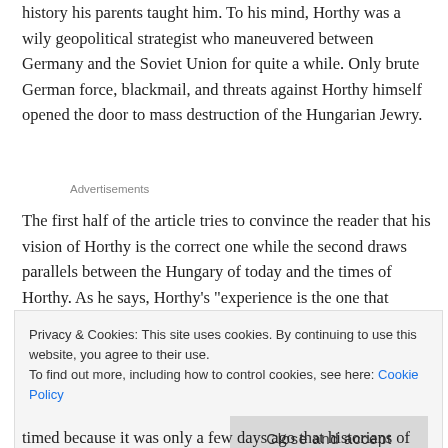history his parents taught him. To his mind, Horthy was a wily geopolitical strategist who maneuvered between Germany and the Soviet Union for quite a while. Only brute German force, blackmail, and threats against Horthy himself opened the door to mass destruction of the Hungarian Jewry.
Advertisements
The first half of the article tries to convince the reader that his vision of Horthy is the correct one while the second draws parallels between the Hungary of today and the times of Horthy. As he says, Horthy's "experience is the one that Hungary's current leadership appears to
Privacy & Cookies: This site uses cookies. By continuing to use this website, you agree to their use.
To find out more, including how to control cookies, see here: Cookie Policy
[Close and accept]
timed because it was only a few days ago that historians of the